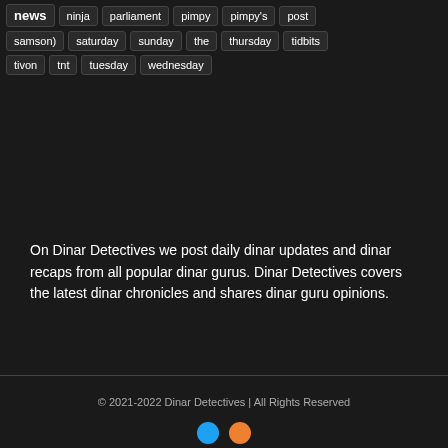news ninja parliament pimpy pimpy's post samson) saturday sunday the thursday tidbits tivon tnt tuesday wednesday
On Dinar Detectives we post daily dinar updates and dinar recaps from all popular dinar gurus. Dinar Detectives covers the latest dinar chronicles and shares dinar guru opinions.
© 2021-2022 Dinar Detectives | All Rights Reserved